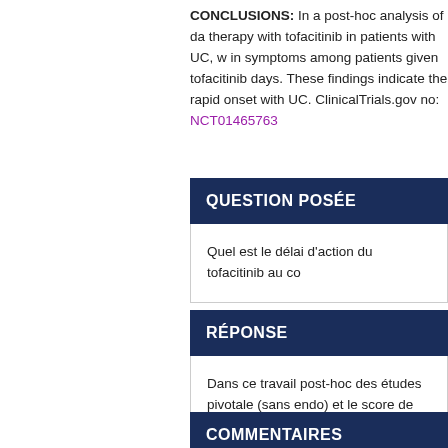CONCLUSIONS: In a post-hoc analysis of data from the induction therapy with tofacitinib in patients with UC, we observed improvements in symptoms among patients given tofacitinib as early as the first 3 days. These findings indicate the rapid onset of action of tofacitinib with UC. ClinicalTrials.gov no: NCT01465763
QUESTION POSÉE
Quel est le délai d'action du tofacitinib au co
RÉPONSE
Dans ce travail post-hoc des études pivotale (sans endo) et le score de rectorragies étaie dans le groupe tofacitinib versus le groupe p fois chez les patients naïfs ou en échec des
COMMENTAIRES